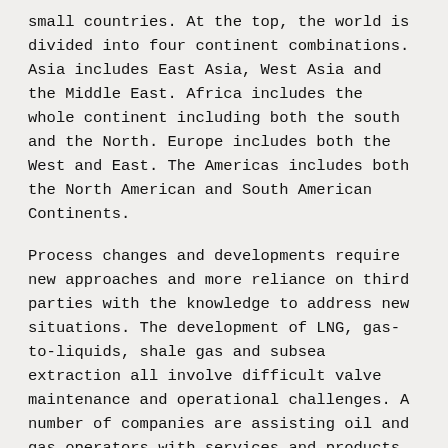small countries. At the top, the world is divided into four continent combinations. Asia includes East Asia, West Asia and the Middle East. Africa includes the whole continent including both the south and the North. Europe includes both the West and East. The Americas includes both the North American and South American Continents.
Process changes and developments require new approaches and more reliance on third parties with the knowledge to address new situations. The development of LNG, gas-to-liquids, shale gas and subsea extraction all involve difficult valve maintenance and operational challenges. A number of companies are assisting oil and gas operators with services and products under the classification of “Total Solutions.”